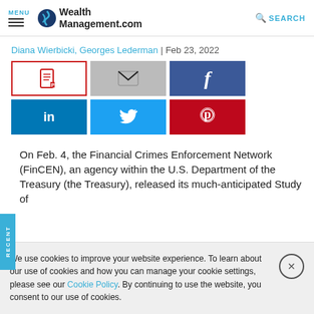MENU | WealthManagement.com | SEARCH
Diana Wierbicki, Georges Lederman | Feb 23, 2022
[Figure (screenshot): Social share buttons: PDF (red bordered), Email (gray), Facebook (dark blue), LinkedIn (blue), Twitter (light blue), Pinterest (red)]
On Feb. 4, the Financial Crimes Enforcement Network (FinCEN), an agency within the U.S. Department of the Treasury (the Treasury), released its much-anticipated Study of
We use cookies to improve your website experience. To learn about our use of cookies and how you can manage your cookie settings, please see our Cookie Policy. By continuing to use the website, you consent to our use of cookies.